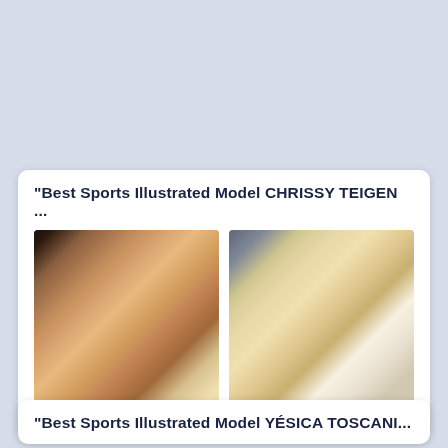"Best Sports Illustrated Model CHRISSY TEIGEN ...
[Figure (photo): Photo of Chrissy Teigen, a woman with brown hair in a ponytail wearing a white outfit, against a background with partial text visible]
CHRISSY TEIGEN
[Figure (photo): Photo of Cheryl Tiegs, a woman with curly blonde hair wearing a white top, smiling outdoors]
CHERYL TIEGS
"Best Sports Illustrated Model YÉSICA TOSCAN...